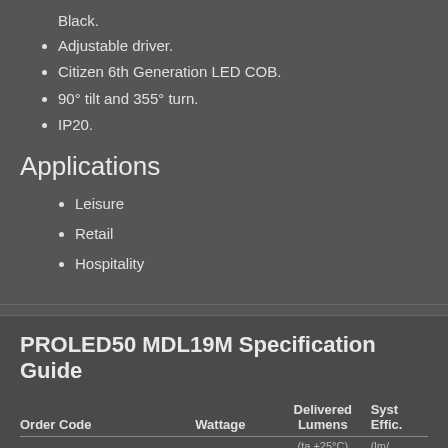Black.
Adjustable driver.
Citizen 6th Generation LED COB.
90° tilt and 355° turn.
IP20.
Applications
Leisure
Retail
Hospitality
PROLED50 MDL19M Specification Guide
| Order Code | Wattage | Delivered Lumens (ta +25°C) | Syst Effic. (lm/...) |
| --- | --- | --- | --- |